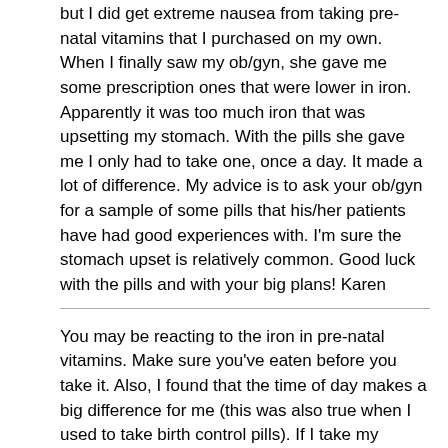but I did get extreme nausea from taking pre-natal vitamins that I purchased on my own. When I finally saw my ob/gyn, she gave me some prescription ones that were lower in iron. Apparently it was too much iron that was upsetting my stomach. With the pills she gave me I only had to take one, once a day. It made a lot of difference. My advice is to ask your ob/gyn for a sample of some pills that his/her patients have had good experiences with. I'm sure the stomach upset is relatively common. Good luck with the pills and with your big plans! Karen
You may be reacting to the iron in pre-natal vitamins. Make sure you've eaten before you take it. Also, I found that the time of day makes a big difference for me (this was also true when I used to take birth control pills). If I take my vitamin in the middle of the day, such as after lunch, I often feel sick to my stomach, but if I take it at night after dinner, I feel fine. Good luck!! Beth
One of the most common irritants in the prenatal vitamin is the